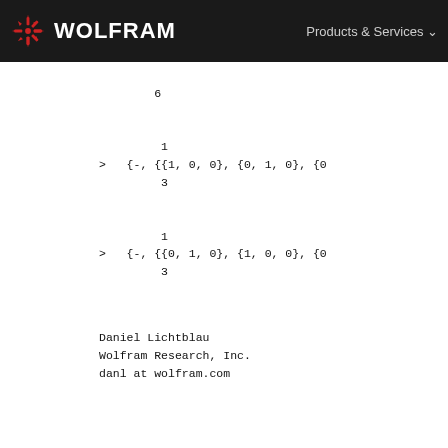WOLFRAM | Products & Services
6

1
>   {-, {{1, 0, 0}, {0, 1, 0}, {0
3

1
>   {-, {{0, 1, 0}, {1, 0, 0}, {0
3
Daniel Lichtblau
Wolfram Research, Inc.
danl at wolfram.com
==== [MESSAGE SEPARATOR] ====